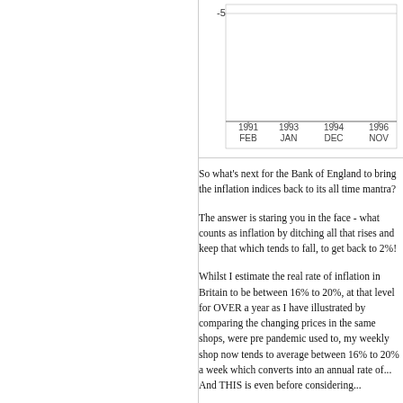[Figure (line-chart): Partial view of a line chart showing dates along x-axis (1991 FEB, 1993 JAN, 1994 DEC, 1996 NOV) with y-axis value of -5 visible at top]
So what's next for the Bank of England to bring the inflation indices back to its all time mantra?
The answer is staring you in the face - what counts as inflation by ditching all that rises and keep that which tends to fall, to get back to 2%!
Whilst I estimate the real rate of inflation in Britain to be between 16% to 20%, at that level for OVER a year as I have illustrated by comparing the changing prices in the same shops, were pre pandemic used to, my weekly shop now tends to average between 16% to 20% a week which converts into an annual rate of... And THIS is even before considering...
All whilst the Bankster of England publishes inflation indices that it routinely does... the REAL RATE OF UK INFLATION...